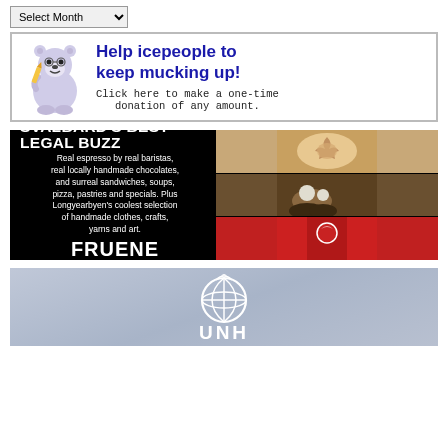[Figure (screenshot): Select Month dropdown menu widget]
[Figure (illustration): Icepeople donation banner: polar bear cartoon with text 'Help icepeople to keep mucking up! Click here to make a one-time donation of any amount.']
[Figure (photo): Fruene advertisement on black background: 'SVALBARD'S BEST LEGAL BUZZ' headline, text about espresso, chocolates, sandwiches, soups, pizza, pastries, handmade clothes, crafts, yarns and art. FRUENE. Lompensenteret • 7902 7640. Photos of latte art, polar bear chocolates, and red apron.]
[Figure (logo): UNHCR advertisement with globe logo on grey/blue background, partial text visible at bottom]